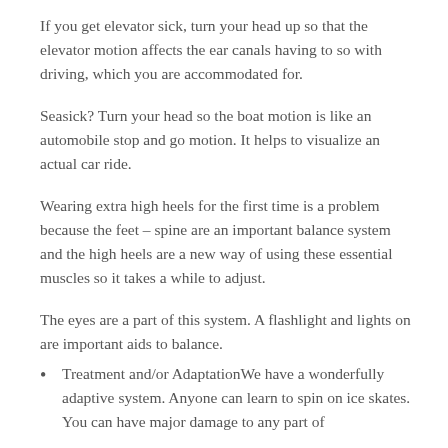If you get elevator sick, turn your head up so that the elevator motion affects the ear canals having to so with driving, which you are accommodated for.
Seasick? Turn your head so the boat motion is like an automobile stop and go motion. It helps to visualize an actual car ride.
Wearing extra high heels for the first time is a problem because the feet – spine are an important balance system and the high heels are a new way of using these essential muscles so it takes a while to adjust.
The eyes are a part of this system. A flashlight and lights on are important aids to balance.
Treatment and/or AdaptationWe have a wonderfully adaptive system. Anyone can learn to spin on ice skates. You can have major damage to any part of